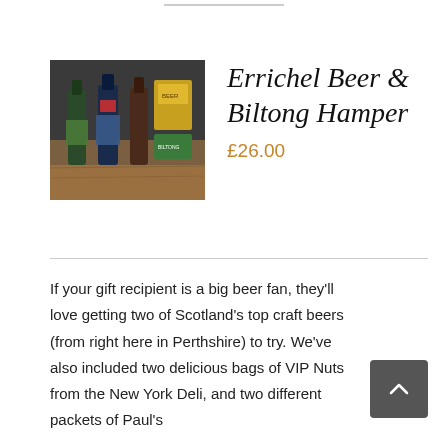[Figure (photo): Product photo of Errichel Beer & Biltong Hamper — bottles and packages on a wooden surface]
Errichel Beer & Biltong Hamper
£26.00
If your gift recipient is a big beer fan, they'll love getting two of Scotland's top craft beers (from right here in Perthshire) to try. We've also included two delicious bags of VIP Nuts from the New York Deli, and two different packets of Paul's